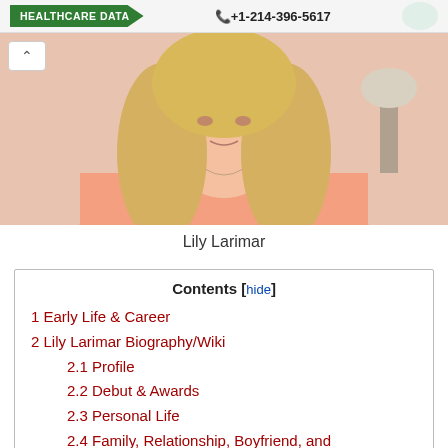HEALTHCARE DATA  +1-214-396-5617
[Figure (photo): Photo of Lily Larimar, a woman with long blonde hair wearing a pink/salmon top, photographed indoors]
Lily Larimar
| Contents [hide] |
| --- |
| 1 Early Life & Career |
| 2 Lily Larimar Biography/Wiki |
| 2.1 Profile |
| 2.2 Debut & Awards |
| 2.3 Personal Life |
| 2.4 Family, Relationship, Boyfriend, and Affairs |